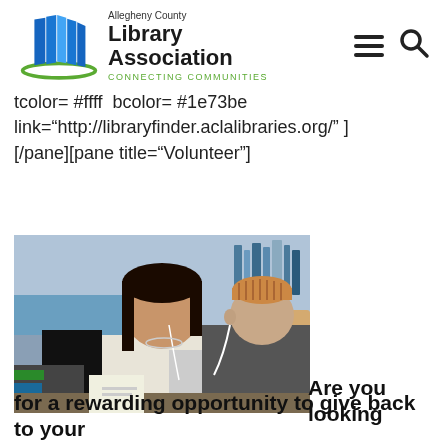[Figure (logo): Allegheny County Library Association logo with blue book/pages icon and green swoosh, text reading 'Allegheny County Library Association CONNECTING COMMUNITIES']
tcolor= #ffff bcolor= #1e73be link="http://libraryfinder.aclalibraries.org/" ] [/pane][pane title="Volunteer"]
[Figure (photo): A young woman with dark hair and earbuds helps an older man wearing a patterned cap at a computer in a library setting]
Are you looking for a rewarding opportunity to give back to your community?